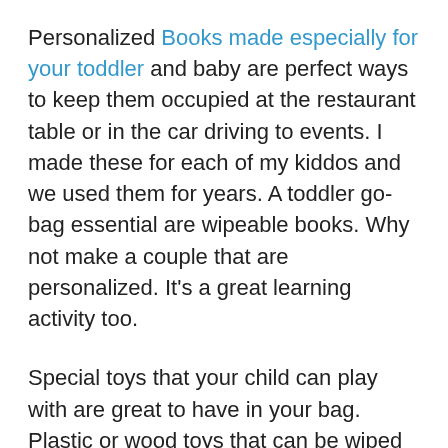Personalized Books made especially for your toddler and baby are perfect ways to keep them occupied at the restaurant table or in the car driving to events. I made these for each of my kiddos and we used them for years. A toddler go-bag essential are wipeable books. Why not make a couple that are personalized. It's a great learning activity too.
Special toys that your child can play with are great to have in your bag. Plastic or wood toys that can be wiped off easily make the most sense for outings. Whether at restaurants or in church, the special toys your toddler loves are